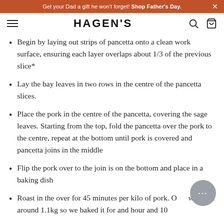Get your Dad a gift he won't forget! Shop Father's Day. ×
HAGEN'S
Begin by laying out strips of pancetta onto a clean work surface, ensuring each layer overlaps about 1/3 of the previous slice*
Lay the bay leaves in two rows in the centre of the pancetta slices.
Place the pork in the centre of the pancetta, covering the sage leaves. Starting from the top, fold the pancetta over the pork to the centre, repeat at the bottom until pork is covered and pancetta joins in the middle
Flip the pork over to the join is on the bottom and place in a baking dish
Roast in the over for 45 minutes per kilo of pork. Ours weighed around 1.1kg so we baked it for and hour and 10